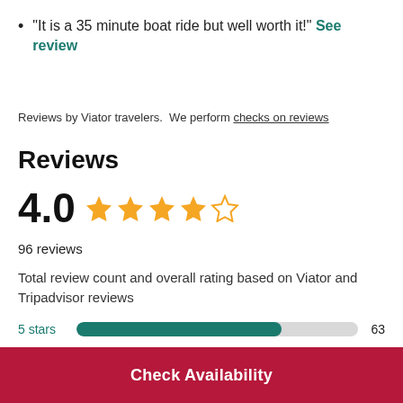"It is a 35 minute boat ride but well worth it!" See review
Reviews by Viator travelers.  We perform checks on reviews
Reviews
4.0  ★★★★☆  96 reviews
Total review count and overall rating based on Viator and Tripadvisor reviews
[Figure (bar-chart): Star rating distribution]
Check Availability